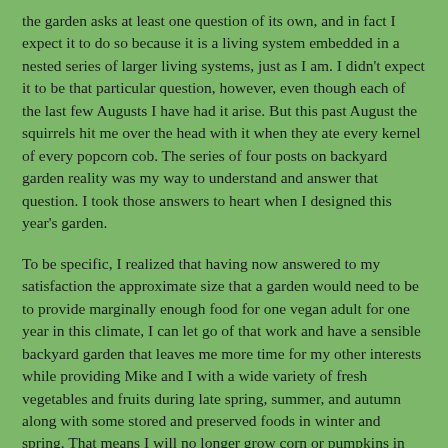the garden asks at least one question of its own, and in fact I expect it to do so because it is a living system embedded in a nested series of larger living systems, just as I am. I didn't expect it to be that particular question, however, even though each of the last few Augusts I have had it arise. But this past August the squirrels hit me over the head with it when they ate every kernel of every popcorn cob. The series of four posts on backyard garden reality was my way to understand and answer that question. I took those answers to heart when I designed this year's garden.
To be specific, I realized that having now answered to my satisfaction the approximate size that a garden would need to be to provide marginally enough food for one vegan adult for one year in this climate, I can let go of that work and have a sensible backyard garden that leaves me more time for my other interests while providing Mike and I with a wide variety of fresh vegetables and fruits during late spring, summer, and autumn along with some stored and preserved foods in winter and spring. That means I will no longer grow corn or pumpkins in my backyard garden. By not growing corn I have only six beds that need to be dug and re-mineralized before planting and that need some level of weed control during the growing season. It may still